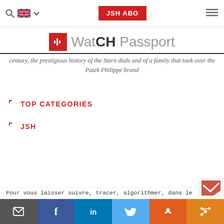JSH ABO
[Figure (logo): WatCH Passport logo with red square icon on left and grey/dark text on right]
century, the prestigious history of the Stern dials and of a family that took over the Patek Philippe brand
TOP CATEGORIES
JSH
Pour vous laisser suivre, tracer, algorithmer, dans le
Email | Facebook | LinkedIn | Twitter | Reddit | Share